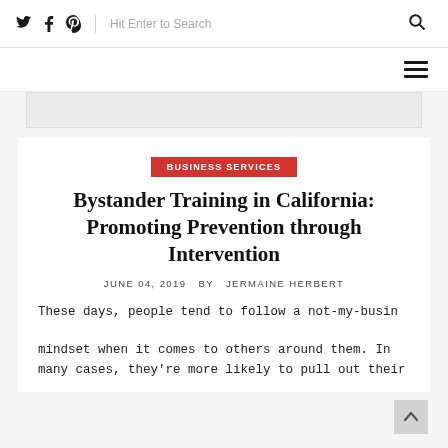Twitter Facebook Pinterest | Hit Enter to Search
BUSINESS SERVICES
Bystander Training in California: Promoting Prevention through Intervention
JUNE 04, 2019  BY  JERMAINE HERBERT
These days, people tend to follow a not-my-business mindset when it comes to others around them. In many cases, they're more likely to pull out their